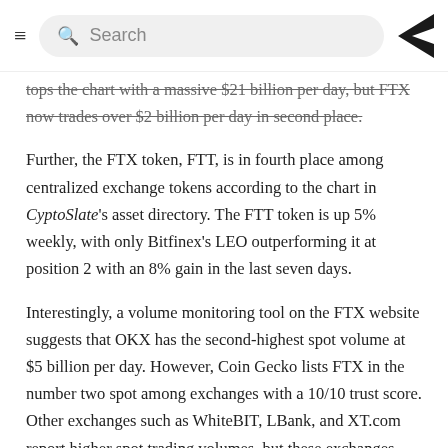≡  🔍 Search  <
tops the chart with a massive $21 billion per day, but FTX now trades over $2 billion per day in second place.
Further, the FTX token, FTT, is in fourth place among centralized exchange tokens according to the chart in CyptoSlate's asset directory. The FTT token is up 5% weekly, with only Bitfinex's LEO outperforming it at position 2 with an 8% gain in the last seven days.
Interestingly, a volume monitoring tool on the FTX website suggests that OKX has the second-highest spot volume at $5 billion per day. However, Coin Gecko lists FTX in the number two spot among exchanges with a 10/10 trust score. Other exchanges such as WhiteBIT, LBank, and XT.com report higher spot trading volumes, but these exchanges currently have a 9/10 trust score by Coin Gecko. It is